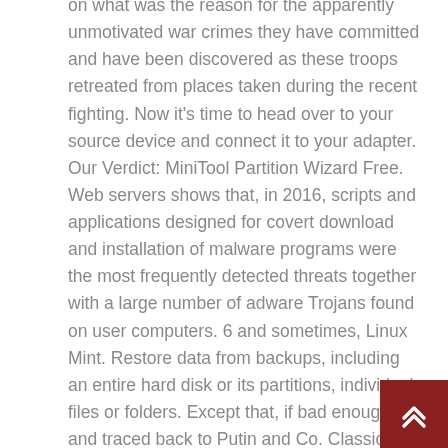on what was the reason for the apparently unmotivated war crimes they have committed and have been discovered as these troops retreated from places taken during the recent fighting. Now it's time to head over to your source device and connect it to your adapter. Our Verdict: MiniTool Partition Wizard Free. Web servers shows that, in 2016, scripts and applications designed for covert download and installation of malware programs were the most frequently detected threats together with a large number of adware Trojans found on user computers. 6 and sometimes, Linux Mint. Restore data from backups, including an entire hard disk or its partitions, individual files or folders. Except that, if bad enough and traced back to Putin and Co. Classic Shell has picked up development once again under the name Open Shell and has been actively maintained and developed since 2018. If you're a regular screenshot taker, we recommend pinning the app to the taskbar. For archival reasons,